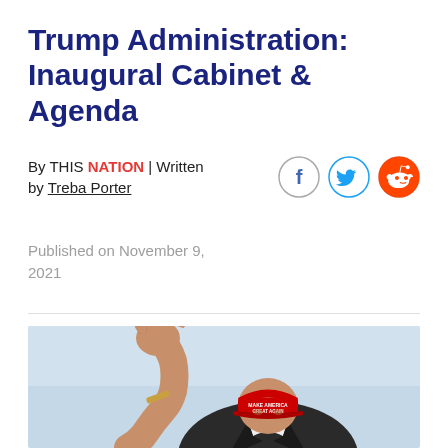Trump Administration: Inaugural Cabinet & Agenda
By THIS NATION | Written by Treba Porter
Published on November 9, 2021
[Figure (photo): Person wearing a red MAKE AMERICA GREAT AGAIN cap, waving with one hand raised, against a light blue sky background, wearing a dark suit with white shirt.]